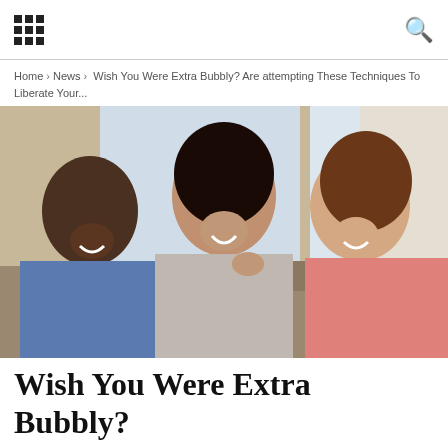[grid menu icon] [search icon]
Home › News › Wish You Were Extra Bubbly? Are attempting These Techniques To Liberate Your...
[Figure (photo): Three women sitting together and laughing, one in a blue shirt on the left, one with dark hair in the center, and one in a pink shirt on the right.]
Wish You Were Extra Bubbly? Are attempting These